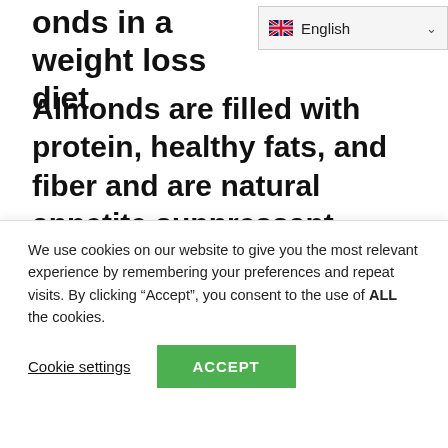onds in a weight loss diet
Almonds are filled with protein, healthy fats, and fiber and are natural appetite suppressant.
So almonds specifically should be your preferred choice when you want to avoid binge eating.
Fenugreek
We use cookies on our website to give you the most relevant experience by remembering your preferences and repeat visits. By clicking “Accept”, you consent to the use of ALL the cookies.